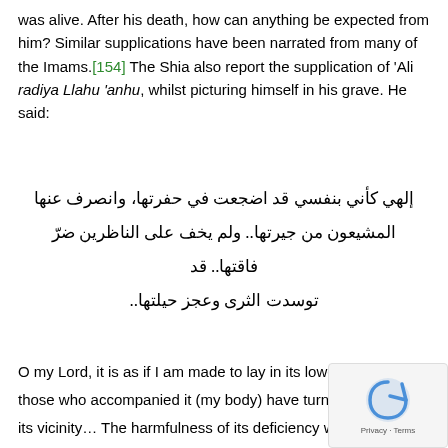was alive. After his death, how can anything be expected from him? Similar supplications have been narrated from many of the Imams.[154] The Shia also report the supplication of 'Ali radiya Llahu 'anhu, whilst picturing himself in his grave. He said:
إلهي كأني بنفسي قد اضجعت في حفرتها، وانصرف عنها المشيعون من جيرتها.. ولم يخف على الناظرين ضرّ فاقتها.. قد توسدت الثرى وعجز حيلتها..
O my Lord, it is as if I am made to lay in its lowest part and those who accompanied it (my body) have turned away from its vicinity… The harmfulness of its deficiency was not hidden to the onlookers… It took the soil as a pillow and plans have become useless…[155]